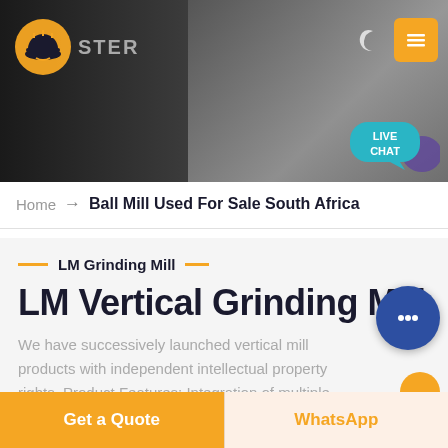[Figure (screenshot): Website header/hero image showing industrial mining equipment (crusher) in dark background with rock texture. Company logo (hard hat icon) on left, navigation icons (moon/dark mode toggle and yellow hamburger menu button) on top right. Teal 'LIVE CHAT' speech bubble overlay bottom-right of header.]
Home → Ball Mill Used For Sale South Africa
LM Grinding Mill
LM Vertical Grinding Mill
We have successively launched vertical mill products with independent intellectual property rights. Product Features: Integration of multiple functions, more stable and reliable production and more excellent capacity.
Get a Quote
WhatsApp